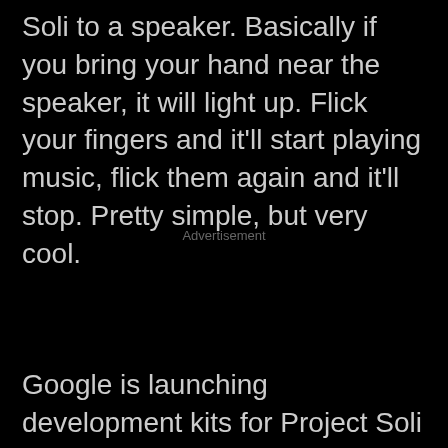Soli to a speaker. Basically if you bring your hand near the speaker, it will light up. Flick your fingers and it'll start playing music, flick them again and it'll stop. Pretty simple, but very cool.
Advertisement
Google is launching development kits for Project Soli